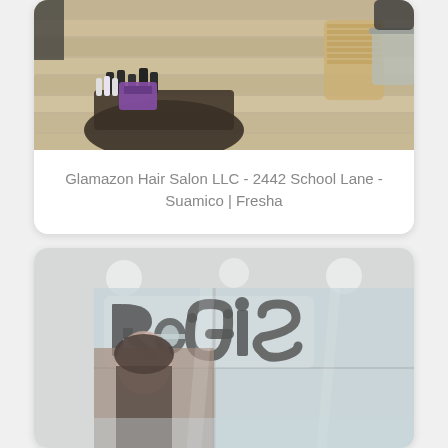[Figure (photo): Interior of Glamazon Hair Salon showing wooden plank floor, dark round table with hair product bottles, wicker/burlap decorative containers in background]
Glamazon Hair Salon LLC - 2442 School Lane - Suamico | Fresha
[Figure (photo): Exterior storefront of Regis salon inside a mall, showing large illuminated 'ReGiS' signage on glass facade, woman's portrait visible inside]